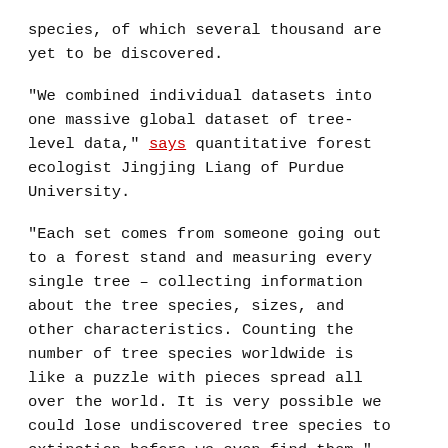species, of which several thousand are yet to be discovered.
"We combined individual datasets into one massive global dataset of tree-level data," says quantitative forest ecologist Jingjing Liang of Purdue University.
"Each set comes from someone going out to a forest stand and measuring every single tree – collecting information about the tree species, sizes, and other characteristics. Counting the number of tree species worldwide is like a puzzle with pieces spread all over the world. It is very possible we could lose undiscovered tree species to extinction before we even find them," Jingjing Liang added.
The report combined two vast tree datasets – one belonging to the Global Forest Biodiversity Initiative, which Liang is the coordinator, and another database